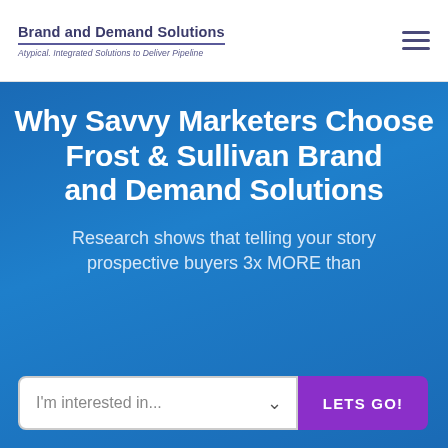Brand and Demand Solutions — Atypical. Integrated Solutions to Deliver Pipeline
Why Savvy Marketers Choose Frost & Sullivan Brand and Demand Solutions
Research shows that telling your story prospective buyers 3x MORE than
I'm interested in...  LETS GO!